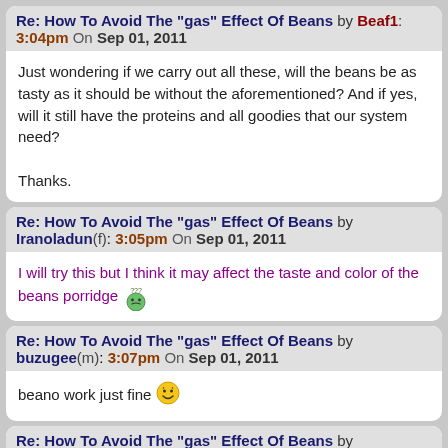Re: How To Avoid The "gas" Effect Of Beans by Beaf1: 3:04pm On Sep 01, 2011
Just wondering if we carry out all these, will the beans be as tasty as it should be without the aforementioned? And if yes, will it still have the proteins and all goodies that our system need?

Thanks.
Re: How To Avoid The "gas" Effect Of Beans by Iranoladun(f): 3:05pm On Sep 01, 2011
I will try this but I think it may affect the taste and color of the beans porridge
Re: How To Avoid The "gas" Effect Of Beans by buzugee(m): 3:07pm On Sep 01, 2011
beano work just fine
Re: How To Avoid The "gas" Effect Of Beans by